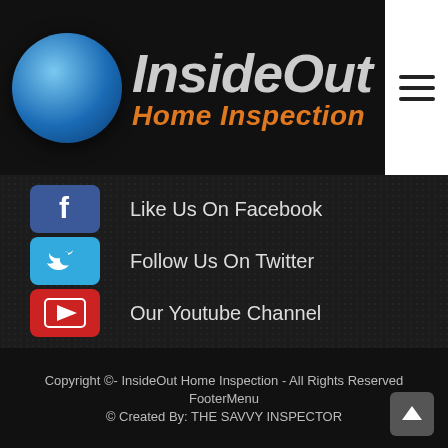[Figure (logo): InsideOut Home Inspection logo with blue sphere and italic text in gray and orange]
Like Us On Facebook
Follow Us On Twitter
Our Youtube Channel
Our Pinterest Boards
Our Yelp Reviews
Copyright ©- InsideOut Home Inspection - All Rights Reserved
FooterMenu
© Created By: THE SAVVY INSPECTOR